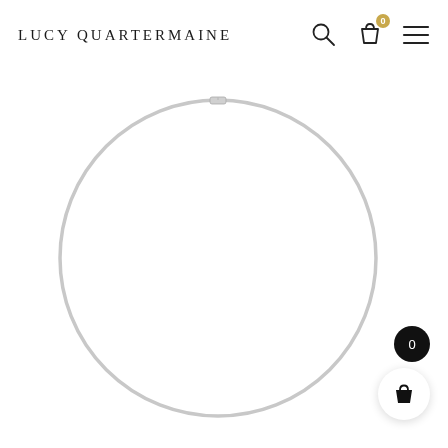LUCY QUARTERMAINE
[Figure (photo): A circular silver wire necklace (torque/collar style) displayed against a white background, forming a near-perfect circle with a small clasp visible at the top center.]